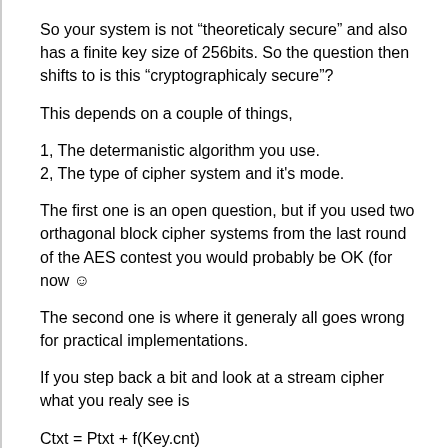So your system is not “theoretricaly secure” and also has a finite key size of 256bits. So the question then shifts to is this “cryptographicaly secure”?
This depends on a couple of things,
1, The determanistic algorithm you use.
2, The type of cipher system and it's mode.
The first one is an open question, but if you used two orthagonal block cipher systems from the last round of the AES contest you would probably be OK (for now ☺
The second one is where it generaly all goes wrong for practical implementations.
If you step back a bit and look at a stream cipher what you realy see is
Where, + equals your chosen mixing function be it XOR or ADD etc etc, and f() is your determanistic algorithm being driven by a counter from a start position “Key” to generate